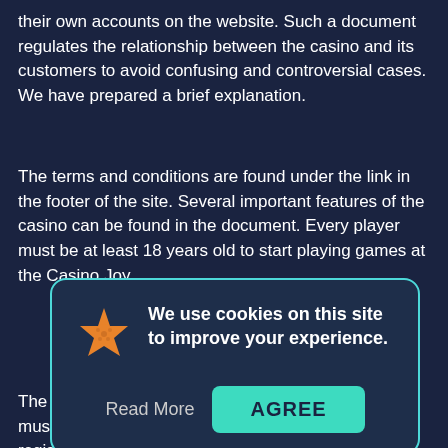their own accounts on the website. Such a document regulates the relationship between the casino and its customers to avoid confusing and controversial cases. We have prepared a brief explanation.
The terms and conditions are found under the link in the footer of the site. Several important features of the casino can be found in the document. Every player must be at least 18 years old to start playing games at the Casino Joy.
Verification Process
The details supplied during registration must be correct and up to date at the time of registration. The details provided must not be derived from...
[Figure (infographic): Cookie consent popup with orange starfish icon, text 'We use cookies on this site to improve your experience.', a 'Read More' button and a teal 'AGREE' button, overlaid on the page content.]
To undertake verification, players can use the services of t... This helps to confirm a customer's identity and contact